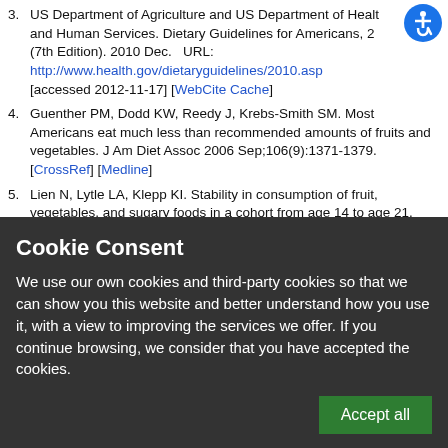3. US Department of Agriculture and US Department of Health and Human Services. Dietary Guidelines for Americans, 2010 (7th Edition). 2010 Dec.   URL: http://www.health.gov/dietaryguidelines/2010.asp [accessed 2012-11-17] [WebCite Cache]
4. Guenther PM, Dodd KW, Reedy J, Krebs-Smith SM. Most Americans eat much less than recommended amounts of fruits and vegetables. J Am Diet Assoc 2006 Sep;106(9):1371-1379. [CrossRef] [Medline]
5. Lien N, Lytle LA, Klepp KI. Stability in consumption of fruit, vegetables, and sugary foods in a cohort from age 14 to age 21. Prev Med 2001 Sep;33(3):217-226. [CrossRef] [Medline]
[Figure (other): Accessibility icon - blue circle with white wheelchair person symbol]
Cookie Consent
We use our own cookies and third-party cookies so that we can show you this website and better understand how you use it, with a view to improving the services we offer. If you continue browsing, we consider that you have accepted the cookies.